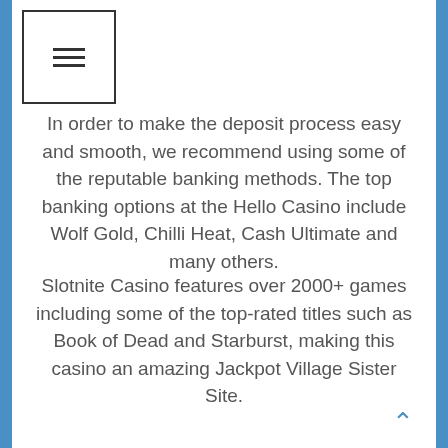[Figure (other): Hamburger menu icon in a square border]
In order to make the deposit process easy and smooth, we recommend using some of the reputable banking methods. The top banking options at the Hello Casino include Wolf Gold, Chilli Heat, Cash Ultimate and many others.
Slotnite Casino – Reputable developer games and Smooth Slingo Experience.
Slotnite Casino features over 2000+ games including some of the top-rated titles such as Book of Dead and Starburst, making this casino an amazing Jackpot Village Sister Site.